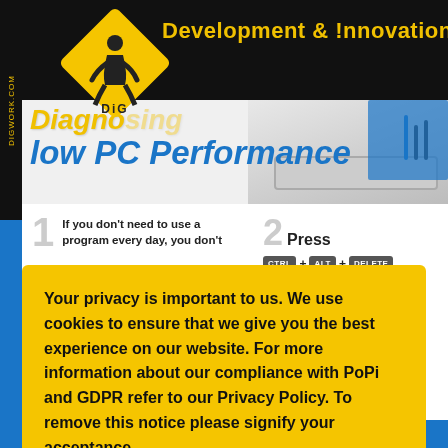[Figure (screenshot): DIG (Development & Innovation Group) website header with black background, yellow diamond logo with construction worker silhouette, yellow text reading 'Development & Innovation Group', and a vertical yellow watermark 'DIGWORK.COM' on the left side.]
[Figure (infographic): Infographic about diagnosing slow PC performance showing partial title 'Diagnosing Slow PC Performance' in yellow/blue italic text, USB hub photo on right, and steps row showing Step 1 text 'If you don't need to use a program every day, you don't' and Step 2 'Press CTRL + ALT + DELETE' keyboard shortcut.]
Your privacy is important to us. We use cookies to ensure that we give you the best experience on our website. For more information about our compliance with PoPi and GDPR refer to our Privacy Policy. To remove this notice please signify your acceptance.
I accept